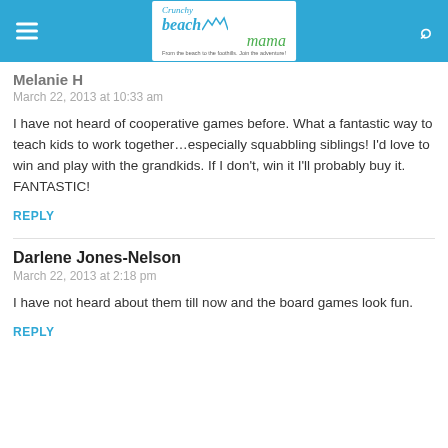[Figure (logo): Crunchy Beach Mama logo with blue header bar, hamburger menu icon on left, search icon on right]
Melanie H
March 22, 2013 at 10:33 am
I have not heard of cooperative games before. What a fantastic way to teach kids to work together...especially squabbling siblings! I'd love to win and play with the grandkids. If I don't, win it I'll probably buy it. FANTASTIC!
REPLY
Darlene Jones-Nelson
March 22, 2013 at 2:18 pm
I have not heard about them till now and the board games look fun.
REPLY